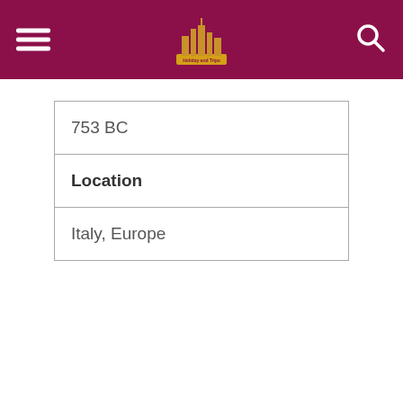Holiday and Trips
| 753 BC |
| Location |
| Italy, Europe |